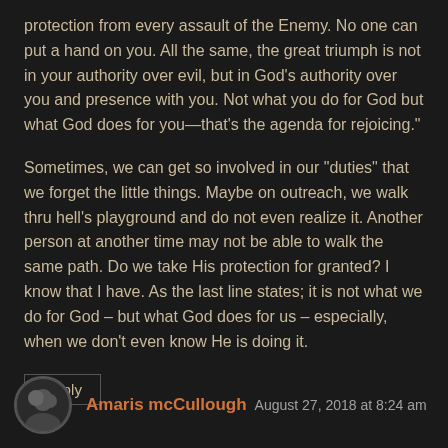protection from every assault of the Enemy. No one can put a hand on you. All the same, the great triumph is not in your authority over evil, but in God's authority over you and presence with you. Not what you do for God but what God does for you—that's the agenda for rejoicing."
Sometimes, we can get so involved in our "duties" that we forget the little things. Maybe on outreach, we walk thru hell's playground and do not even realize it. Another person at another time may not be able to walk the same path. Do we take His protection for granted? I know that I have. As the last line states; it is not what we do for God – but what God does for us – especially, when we don't even know He is doing it.
Reply
Amaris mcCullough  August 27, 2018 at 8:24 am